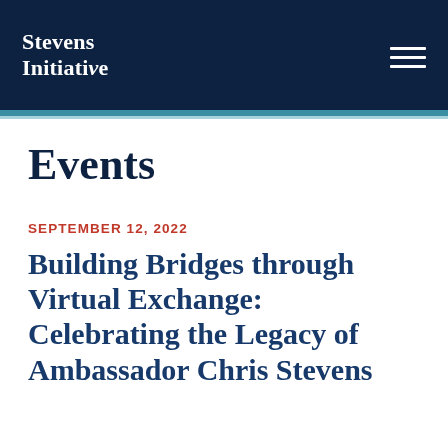Stevens Initiative
Events
SEPTEMBER 12, 2022
Building Bridges through Virtual Exchange: Celebrating the Legacy of Ambassador Chris Stevens